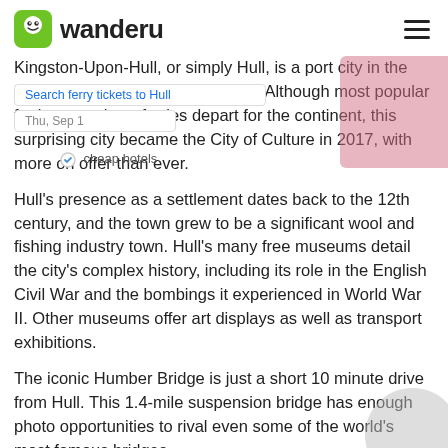wanderu
Kingston-Upon-Hull, or simply Hull, is a port city in the East Yorkshire county of England. Although most popular for its port where ferries depart for the continent, this surprising city became the City of Culture in 2017, with more on offer than ever.
Hull's presence as a settlement dates back to the 12th century, and the town grew to be a significant wool and fishing industry town. Hull's many free museums detail the city's complex history, including its role in the English Civil War and the bombings it experienced in World War II. Other museums offer art displays as well as transport exhibitions.
The iconic Humber Bridge is just a short 10 minute drive from Hull. This 1.4-mile suspension bridge has enough photo opportunities to rival even some of the world's most famous bridges.